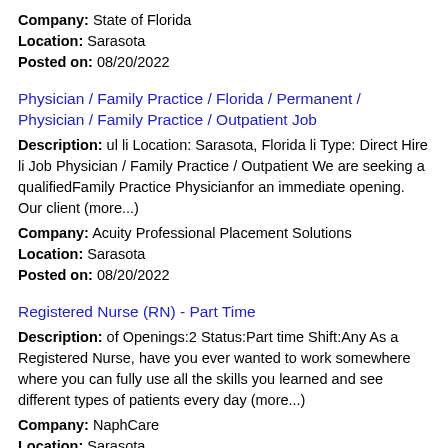Company: State of Florida
Location: Sarasota
Posted on: 08/20/2022
Physician / Family Practice / Florida / Permanent / Physician / Family Practice / Outpatient Job
Description: ul li Location: Sarasota, Florida li Type: Direct Hire li Job Physician / Family Practice / Outpatient We are seeking a qualifiedFamily Practice Physicianfor an immediate opening. Our client (more...)
Company: Acuity Professional Placement Solutions
Location: Sarasota
Posted on: 08/20/2022
Registered Nurse (RN) - Part Time
Description: of Openings:2 Status:Part time Shift:Any As a Registered Nurse, have you ever wanted to work somewhere where you can fully use all the skills you learned and see different types of patients every day (more...)
Company: NaphCare
Location: Sarasota
Posted on: 08/20/2022
Research Assistant